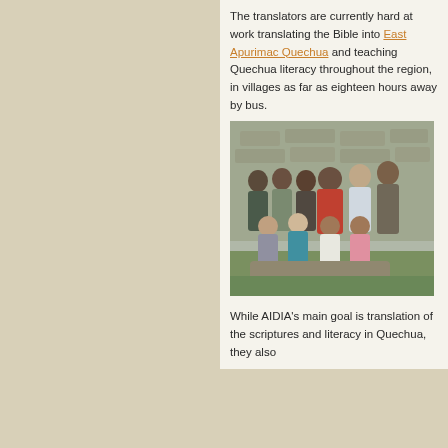The translators are currently hard at work translating the Bible into East Apurimac Quechua and teaching Quechua literacy throughout the region, in villages as far as eighteen hours away by bus.
[Figure (photo): Group photo of approximately 10 people standing and sitting in front of a stone wall outdoors on grass. Men standing in back row, women seated in front.]
While AIDIA's main goal is translation of the scriptures and literacy in Quechua, they also